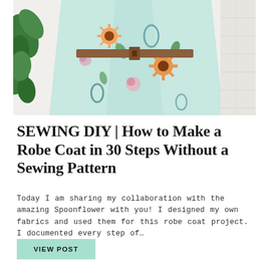[Figure (photo): A floral robe coat with green, pink, and orange flower pattern on a white brick background, cinched with a brown belt. Green plant visible on left side.]
SEWING DIY | How to Make a Robe Coat in 30 Steps Without a Sewing Pattern
Today I am sharing my collaboration with the amazing Spoonflower with you! I designed my own fabrics and used them for this robe coat project. I documented every step of…
VIEW POST